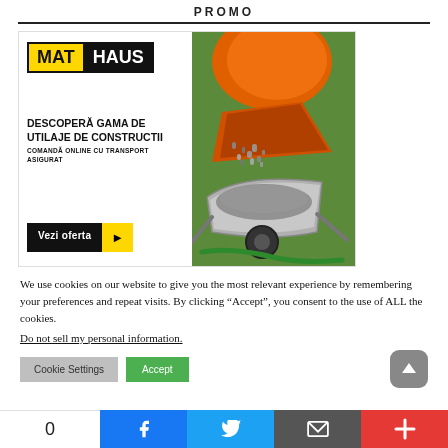PROMO
[Figure (illustration): MatHaus advertisement banner featuring the MatHaus logo, text 'DESCOPERA GAMA DE UTILAJE DE CONSTRUCTII COMANDA ONLINE CU TRANSPORT ASIGURAT', a 'Vezi oferta' button, and a photo of an orange concrete mixer pouring gravel into a wheelbarrow.]
We use cookies on our website to give you the most relevant experience by remembering your preferences and repeat visits. By clicking “Accept”, you consent to the use of ALL the cookies.
Do not sell my personal information.
Cookie Settings   Accept